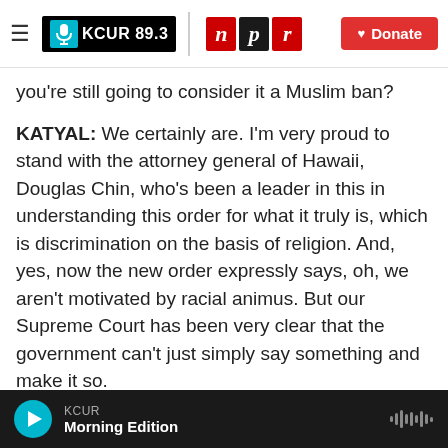[Figure (logo): KCUR 89.3 and NPR logos with Donate button navigation bar]
you're still going to consider it a Muslim ban?
KATYAL: We certainly are. I'm very proud to stand with the attorney general of Hawaii, Douglas Chin, who's been a leader in this in understanding this order for what it truly is, which is discrimination on the basis of religion. And, yes, now the new order expressly says, oh, we aren't motivated by racial animus. But our Supreme Court has been very clear that the government can't just simply say something and make it so.
And this order from start to finish, from the
[Figure (screenshot): KCUR Morning Edition audio player bar at bottom of screen]